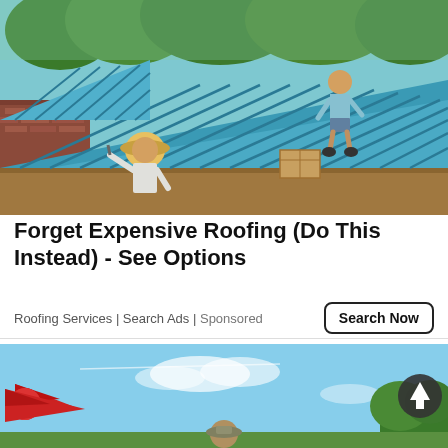[Figure (photo): Workers installing a blue metal roof on a building. One worker is on top of the roof, another is at the edge below. Trees and red brick houses visible in the background.]
Forget Expensive Roofing (Do This Instead) - See Options
Roofing Services | Search Ads | Sponsored
[Figure (photo): Bottom portion of a second advertisement showing a blue sky with clouds, a red and black logo on the left, and a person partially visible at the bottom. A back-to-top circular button is on the right.]